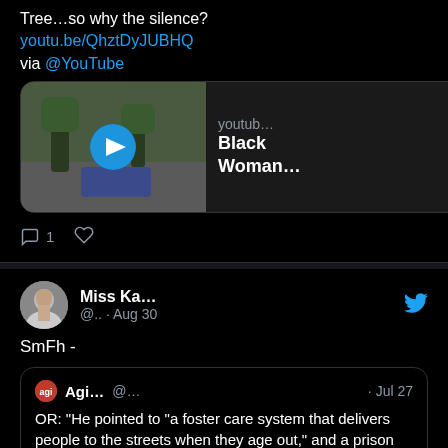Tree…so why the silence? youtu.be/QhztDyJUBHQ via @YouTube
[Figure (screenshot): YouTube video preview thumbnail showing a car on a tree-lined road with a play button overlay. Text shows 'youtub...' and 'Black Woman...']
1 (reply count) and heart icon
Miss Ka... @.. · Aug 30 — SmFh -
Agi... @... · Jul 27 — OR: "He pointed to "a foster care system that delivers people to the streets when they age out," and a prison ...